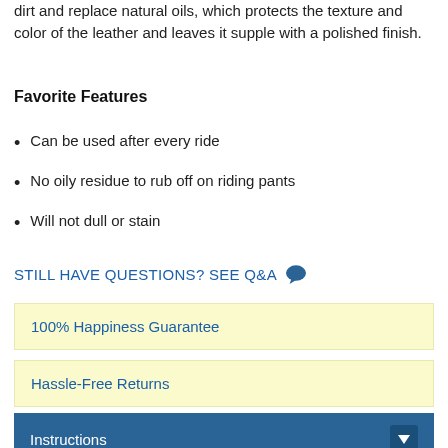dirt and replace natural oils, which protects the texture and color of the leather and leaves it supple with a polished finish.
Favorite Features
Can be used after every ride
No oily residue to rub off on riding pants
Will not dull or stain
STILL HAVE QUESTIONS? SEE Q&A
100% Happiness Guarantee
Hassle-Free Returns
Instructions